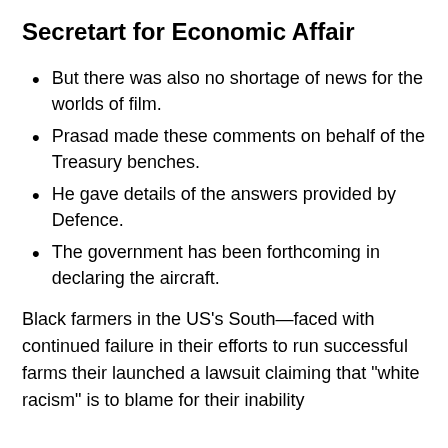Secretart for Economic Affair
But there was also no shortage of news for the worlds of film.
Prasad made these comments on behalf of the Treasury benches.
He gave details of the answers provided by Defence.
The government has been forthcoming in declaring the aircraft.
Black farmers in the US’s South—faced with continued failure in their efforts to run successful farms their launched a lawsuit claiming that “white racism” is to blame for their inability